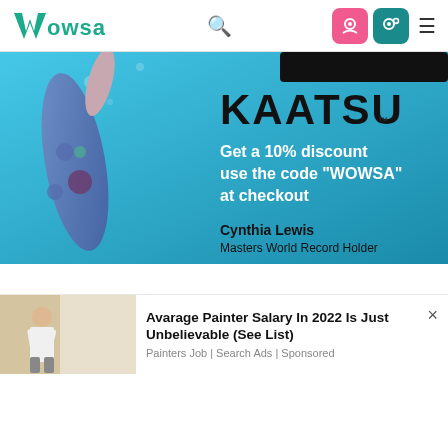Wowsa — navigation header with logo, search, icons, hamburger menu
[Figure (photo): KAATSU advertisement banner showing a swimmer in a colorful floral swimsuit underwater with text: KAATSU, Get a 10% discount use the code "WOWSA" at checkout. Cynthia Lewis, Masters World Record Holder]
[Figure (photo): Promotional ad unit showing a man painting a wall. Title: Avarage Painter Salary In 2022 Is Just Unbelievable (See List). Source: Painters Job | Search Ads | Sponsored. Close button (×) in top right.]